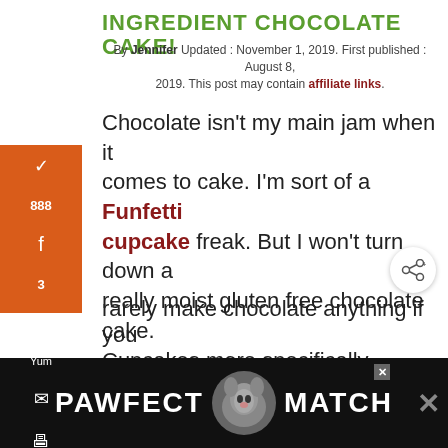INGREDIENT CHOCOLATE CAKE!
By Jennifer Updated: November 1, 2019. First published: August 8, 2019. This post may contain affiliate links.
Chocolate isn't my main jam when it comes to cake. I'm sort of a Funfetti cupcake freak. But I won't turn down a really moist gluten free chocolate cake. Cupcakes more specifically.
rarely make chocolate anything if you
[Figure (other): PAWFECT MATCH advertisement banner with cat image]